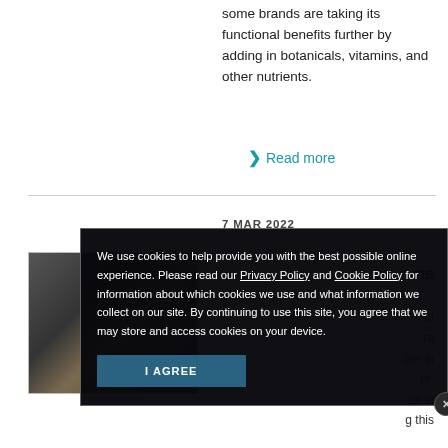some brands are taking its functional benefits further by adding in botanicals, vitamins, and other nutrients.
❯ Read more
7 MAR 2022
[Figure (photo): Thumbnail image of a food/ingredient item, dark toned]
ns
nd
re
der in
nt-
ok at
g this
We use cookies to help provide you with the best possible online experience. Please read our Privacy Policy and Cookie Policy for information about which cookies we use and what information we collect on our site. By continuing to use this site, you agree that we may store and access cookies on your device.

I AGREE